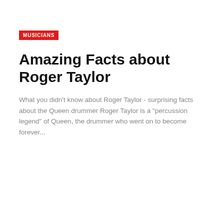MUSICIANS
Amazing Facts about Roger Taylor
What you didn't know about Roger Taylor - surprising facts about the Queen drummer Roger Taylor is a "percussion legend" of Queen, the drummer who went on to become forever...